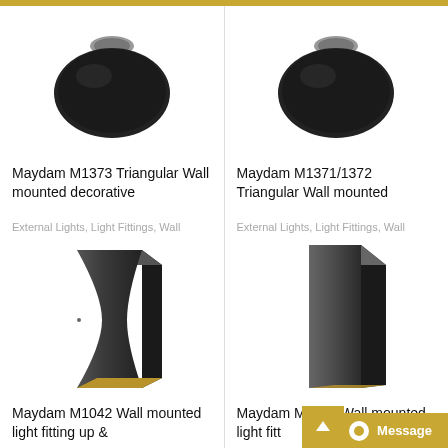[Figure (photo): Maydam M1373 Triangular Wall mounted decorative light fixture - dark oval/rounded shape with chrome ring, viewed from angle]
Maydam M1373 Triangular Wall mounted decorative
[Figure (photo): Maydam M1371/1372 Triangular Wall mounted light fixture - dark oval/rounded shape with chrome ring, viewed from angle]
Maydam M1371/1372 Triangular Wall mounted
External Lights, Light Fittings, Wall
[Figure (photo): Maydam M1042 Wall mounted light fitting up & down - dark angular rectangular wall light, concave front face with gold interior bottom]
Maydam M1042 Wall mounted light fitting up &
External Lights, Light Fittings, Wall
[Figure (photo): Maydam M4835 Wall mounted light fitting - dark angular rectangular wall light, angular geometric form]
Maydam M4835 Wall mounted light fitt